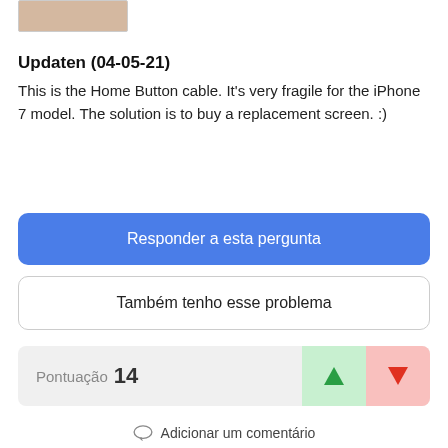[Figure (photo): Partial thumbnail image with beige/tan color, cropped at top of page]
Updaten (04-05-21)
This is the Home Button cable. It's very fragile for the iPhone 7 model. The solution is to buy a replacement screen. :)
Responder a esta pergunta
Também tenho esse problema
Pontuação 14
Adicionar um comentário